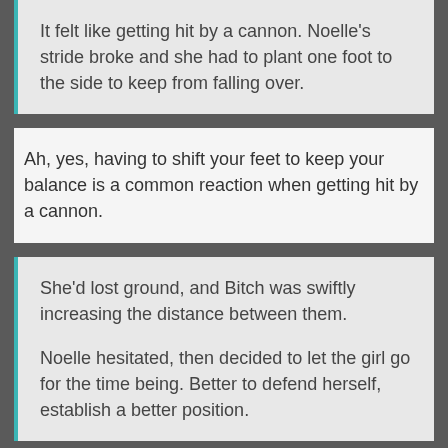It felt like getting hit by a cannon.  Noelle's stride broke and she had to plant one foot to the side to keep from falling over.
Ah, yes, having to shift your feet to keep your balance is a common reaction when getting hit by a cannon.
She'd lost ground, and Bitch was swiftly increasing the distance between them.
Noelle hesitated, then decided to let the girl go for the time being.  Better to defend herself, establish a better position.
Woo, Bitch got away! Maybe she'll be back with Labyrinth, if Contessa's attack didn't cause the Crew